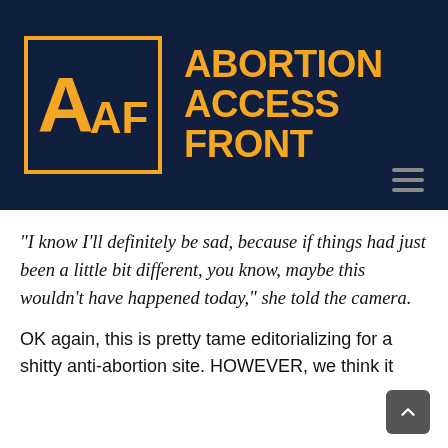[Figure (logo): Abortion Access Front logo: dark navy header with orange bordered square containing stylized AAF letters, followed by bold orange text reading ABORTION ACCESS FRONT in three lines]
“I know I’ll definitely be sad, because if things had just been a little bit different, you know, maybe this wouldn’t have happened today,” she told the camera.
OK again, this is pretty tame editorializing for a shitty anti-abortion site. HOWEVER, we think it